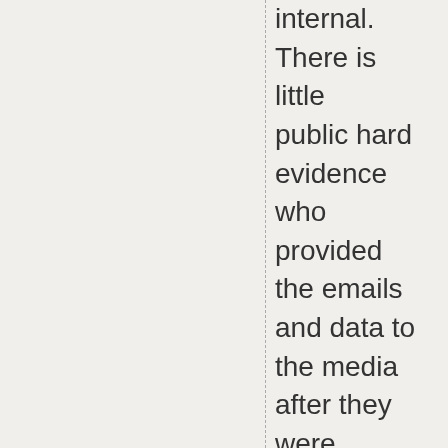internal. There is little public hard evidence who provided the emails and data to the media after they were purloined, how many times they were handled/how